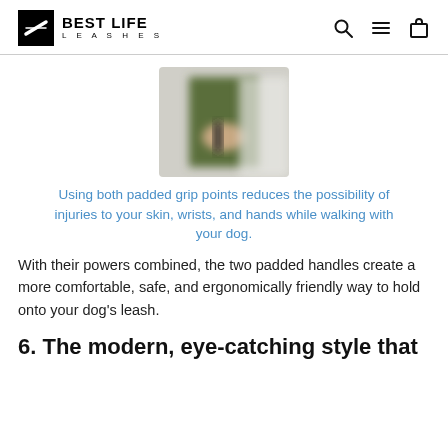BEST LIFE LEASHES
[Figure (photo): Blurred photo of a person holding a dog leash with two padded grip points]
Using both padded grip points reduces the possibility of injuries to your skin, wrists, and hands while walking with your dog.
With their powers combined, the two padded handles create a more comfortable, safe, and ergonomically friendly way to hold onto your dog’s leash.
6. The modern, eye-catching style that